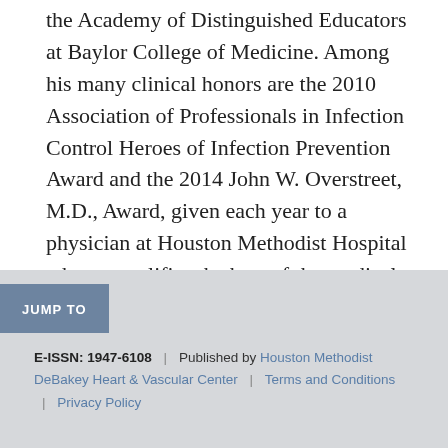the Academy of Distinguished Educators at Baylor College of Medicine. Among his many clinical honors are the 2010 Association of Professionals in Infection Control Heroes of Infection Prevention Award and the 2014 John W. Overstreet, M.D., Award, given each year to a physician at Houston Methodist Hospital who exemplifies the best of the medical profession.
JUMP TO
E-ISSN: 1947-6108 | Published by Houston Methodist DeBakey Heart & Vascular Center | Terms and Conditions | Privacy Policy